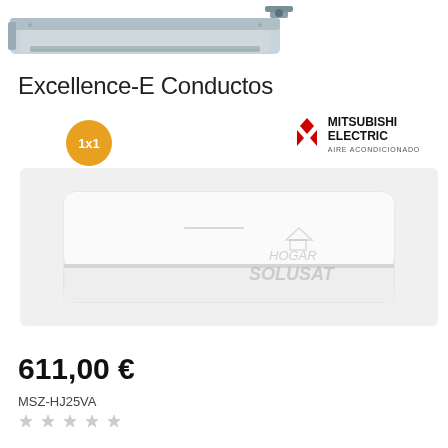[Figure (photo): Partial view of a ducted air conditioning unit (Excellence-E Conductos), showing the bottom portion of the indoor duct unit hardware]
Excellence-E Conductos
[Figure (photo): Product listing image showing a white wall-mounted Mitsubishi Electric air conditioning unit with a 1x1 badge and Mitsubishi Electric Aire Acondicionado logo. Watermark reads HOGAR SOLUSAT.]
611,00 €
MSZ-HJ25VA
[Figure (illustration): Star rating row at the bottom of the product listing]